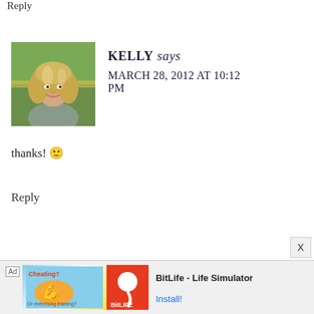Reply
[Figure (photo): Profile photo of a woman with blonde highlighted hair, smiling, wearing a grey jacket and necklace, standing near a fence outdoors.]
KELLY says
MARCH 28, 2012 AT 10:12 PM
thanks! 🙂
Reply
[Figure (infographic): Advertisement banner for BitLife - Life Simulator app, showing ad label, game artwork, and Install button.]